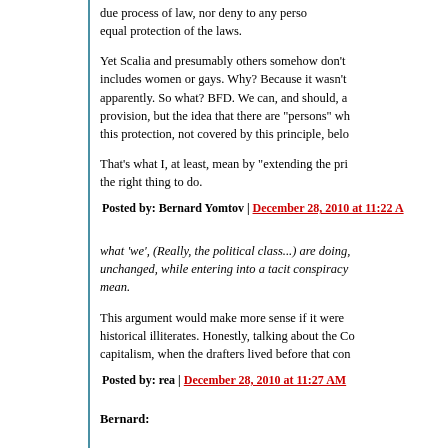due process of law, nor deny to any person equal protection of the laws.
Yet Scalia and presumably others somehow don't think that includes women or gays. Why? Because it wasn't apparently. So what? BFD. We can, and should, a provision, but the idea that there are "persons" wh this protection, not covered by this principle, belo
That's what I, at least, mean by "extending the pri the right thing to do.
Posted by: Bernard Yomtov | December 28, 2010 at 11:22 A
what 'we', (Really, the political class...) are doing, unchanged, while entering into a tacit conspiracy mean.
This argument would make more sense if it were historical illiterates. Honestly, talking about the Co capitalism, when the drafters lived before that con
Posted by: rea | December 28, 2010 at 11:27 AM
Bernard: